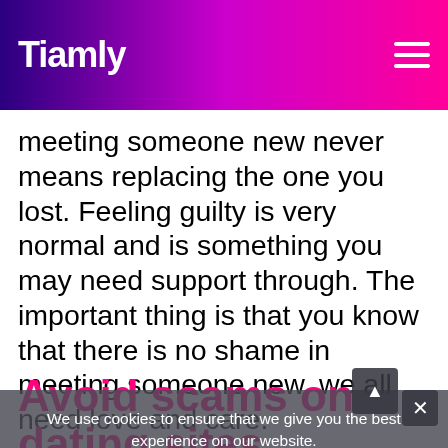Tiamly
meeting someone new never means replacing the one you lost. Feeling guilty is very normal and is something you may need support through. The important thing is that you know that there is no shame in meeting someone new, we all need love and care.
Avoid scams on dating sites
Unfortunately, fraud on dating sites is not inevitable. It is important that...
We use cookies to ensure that we give you the best experience on our website.